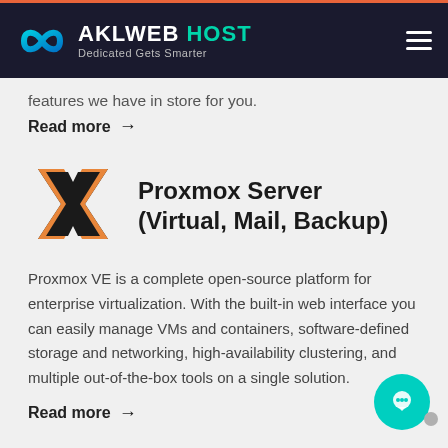AKLWEB HOST – Dedicated Gets Smarter
features we have in store for you.
Read more →
[Figure (logo): Proxmox X logo in black and orange]
Proxmox Server (Virtual, Mail, Backup)
Proxmox VE is a complete open-source platform for enterprise virtualization. With the built-in web interface you can easily manage VMs and containers, software-defined storage and networking, high-availability clustering, and multiple out-of-the-box tools on a single solution.
Read more →